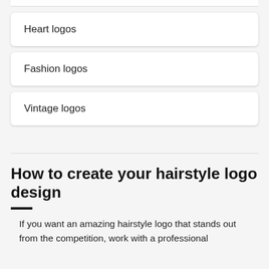Heart logos
Fashion logos
Vintage logos
How to create your hairstyle logo design
If you want an amazing hairstyle logo that stands out from the competition, work with a professional